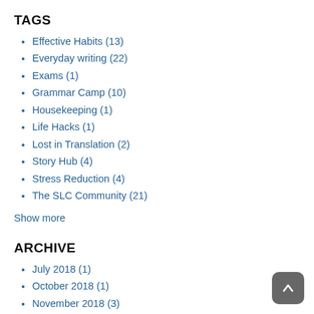TAGS
Effective Habits (13)
Everyday writing (22)
Exams (1)
Grammar Camp (10)
Housekeeping (1)
Life Hacks (1)
Lost in Translation (2)
Story Hub (4)
Stress Reduction (4)
The SLC Community (21)
Show more
ARCHIVE
July 2018 (1)
October 2018 (1)
November 2018 (3)